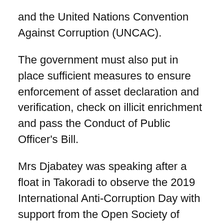and the United Nations Convention Against Corruption (UNCAC).
The government must also put in place sufficient measures to ensure enforcement of asset declaration and verification, check on illicit enrichment and pass the Conduct of Public Officer's Bill.
Mrs Djabatey was speaking after a float in Takoradi to observe the 2019 International Anti-Corruption Day with support from the Open Society of West Africa.
The Day offered an opportunity for participants to reflect on the cost and impact of corruption on